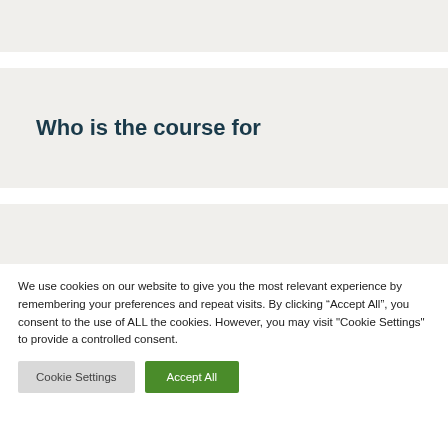[Figure (screenshot): Top grey band, partially visible at top of page]
Who is the course for
[Figure (screenshot): Bottom grey band with partial text visible, cut off]
We use cookies on our website to give you the most relevant experience by remembering your preferences and repeat visits. By clicking “Accept All”, you consent to the use of ALL the cookies. However, you may visit "Cookie Settings" to provide a controlled consent.
Cookie Settings   Accept All